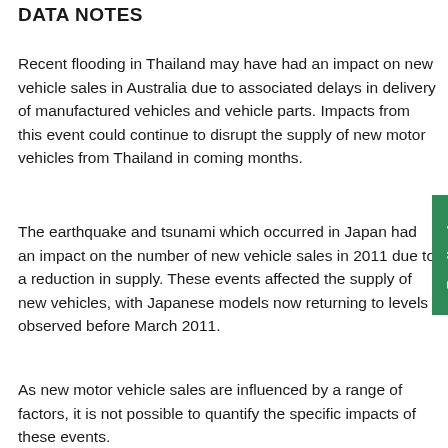DATA NOTES
Recent flooding in Thailand may have had an impact on new vehicle sales in Australia due to associated delays in delivery of manufactured vehicles and vehicle parts. Impacts from this event could continue to disrupt the supply of new motor vehicles from Thailand in coming months.
The earthquake and tsunami which occurred in Japan had an impact on the number of new vehicle sales in 2011 due to a reduction in supply. These events affected the supply of new vehicles, with Japanese models now returning to levels observed before March 2011.
As new motor vehicle sales are influenced by a range of factors, it is not possible to quantify the specific impacts of these events.
INQUIRIES
For further information about these and related statistics, contact the National Information and Referral Service on 1300